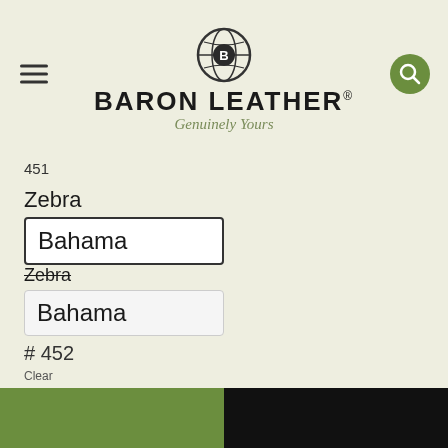[Figure (logo): Baron Leather brand logo with globe icon, brand name BARON LEATHER and tagline Genuinely Yours]
451
Zebra
Bahama
Zebra
Bahama
# 452
Clear
ADD TO WISHLIST